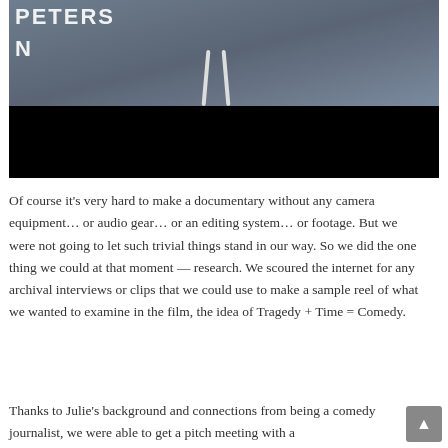[Figure (photo): A person wearing a grey hoodie with text 'PETERS' and 'N' overlaid in white on the upper left. The lower portion of the image is a black bar (video player controls area).]
Of course it’s very hard to make a documentary without any camera equipment… or audio gear… or an editing system… or footage. But we were not going to let such trivial things stand in our way. So we did the one thing we could at that moment — research. We scoured the internet for any archival interviews or clips that we could use to make a sample reel of what we wanted to examine in the film, the idea of Tragedy + Time = Comedy.
Thanks to Julie’s background and connections from being a comedy journalist, we were able to get a pitch meeting with a